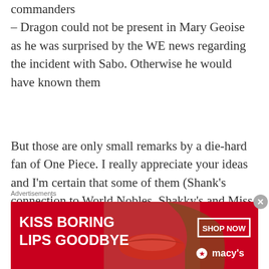commanders
– Dragon could not be present in Mary Geoise as he was surprised by the WE news regarding the incident with Sabo. Otherwise he would have known them
But those are only small remarks by a die-hard fan of One Piece. I really appreciate your ideas and I'm certain that some of them (Shank's connection to World Nobles, Shakky's and Miss Bakin's former membership of Rocks…) will become cano
Advertisements
[Figure (photo): Macy's advertisement banner: 'KISS BORING LIPS GOODBYE' with SHOP NOW button and Macy's logo, red background with model]